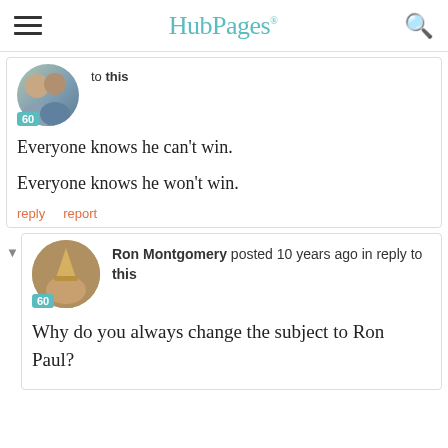HubPages
to this
Everyone knows he can't win.

Everyone knows he won't win.
reply  report
Ron Montgomery posted 10 years ago in reply to this
Why do you always change the subject to Ron Paul?